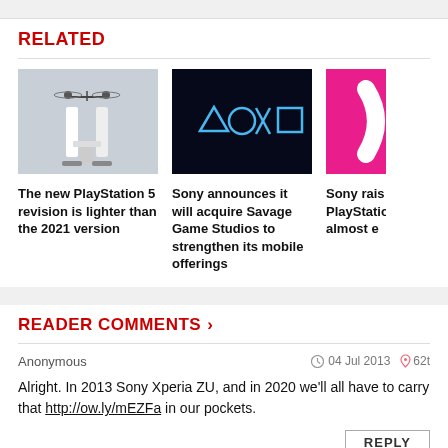RELATED
[Figure (photo): PlayStation 5 console shown from below with a propeller/drone above it on a white background]
The new PlayStation 5 revision is lighter than the 2021 version
[Figure (logo): PlayStation logo symbols (triangle, circle, X, square) glowing blue on dark background]
Sony announces it will acquire Savage Game Studios to strengthen its mobile offerings
[Figure (photo): Partially visible pink/magenta image with white curved shape — Sony related]
Sony rais PlayStation almost e
READER COMMENTS >
Anonymous   04 Jul 2013   62t
Alright. In 2013 Sony Xperia ZU, and in 2020 we'll all have to carry that http://ow.ly/mEZFa in our pockets.